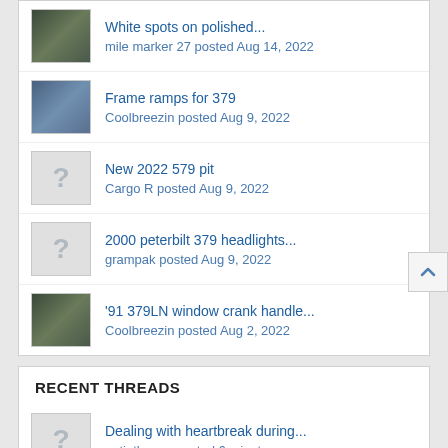White spots on polished... mile marker 27 posted Aug 14, 2022
Frame ramps for 379
Coolbreezin posted Aug 9, 2022
New 2022 579 pit
Cargo R posted Aug 9, 2022
2000 peterbilt 379 headlights...
grampak posted Aug 9, 2022
'91 379LN window crank handle...
Coolbreezin posted Aug 2, 2022
RECENT THREADS
Dealing with heartbreak during...
getinthevan posted 6 minutes ago
Air tanks no air
Andy1982 posted Today at 6:48 PM
'89 DDEC 2 engine sensors
mile marker 27 posted Today at 6:33 PM